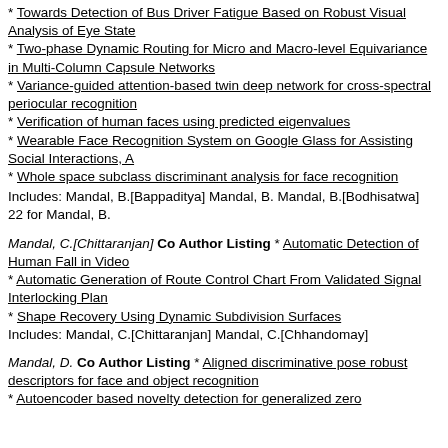* Towards Detection of Bus Driver Fatigue Based on Robust Visual Analysis of Eye State
* Two-phase Dynamic Routing for Micro and Macro-level Equivariance in Multi-Column Capsule Networks
* Variance-guided attention-based twin deep network for cross-spectral periocular recognition
* Verification of human faces using predicted eigenvalues
* Wearable Face Recognition System on Google Glass for Assisting Social Interactions, A
* Whole space subclass discriminant analysis for face recognition
Includes: Mandal, B.[Bappaditya] Mandal, B. Mandal, B.[Bodhisatwa]
22 for Mandal, B.
Mandal, C.[Chittaranjan] Co Author Listing * Automatic Detection of Human Fall in Video
* Automatic Generation of Route Control Chart From Validated Signal Interlocking Plan
* Shape Recovery Using Dynamic Subdivision Surfaces
Includes: Mandal, C.[Chittaranjan] Mandal, C.[Chhandomay]
Mandal, D. Co Author Listing * Aligned discriminative pose robust descriptors for face and object recognition
* Autoencoder based novelty detection for generalized zero